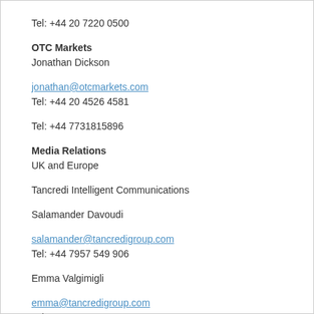Tel: +44 20 7220 0500
OTC Markets
Jonathan Dickson
jonathan@otcmarkets.com
Tel: +44 20 4526 4581
Tel: +44 7731815896
Media Relations
UK and Europe
Tancredi Intelligent Communications
Salamander Davoudi
salamander@tancredigroup.com
Tel: +44 7957 549 906
Emma Valgimigli
emma@tancredigroup.com
Tel: +44 7707 180 073